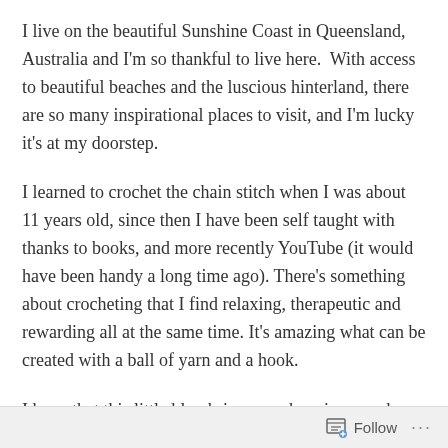I live on the beautiful Sunshine Coast in Queensland, Australia and I'm so thankful to live here.  With access to beautiful beaches and the luscious hinterland, there are so many inspirational places to visit, and I'm lucky it's at my doorstep.
I learned to crochet the chain stitch when I was about 11 years old, since then I have been self taught with thanks to books, and more recently YouTube (it would have been handy a long time ago). There's something about crocheting that I find relaxing, therapeutic and rewarding all at the same time. It's amazing what can be created with a ball of yarn and a hook.
I hope that this little blog brings you happiness and
Follow ···